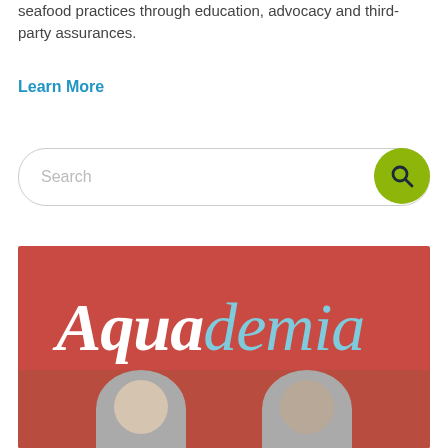seafood practices through education, advocacy and third-party assurances.
Learn More
[Figure (screenshot): Search bar with rounded border and a green circular search button on the right containing a magnifying glass icon]
[Figure (logo): Aquademia logo on a red background. 'Aqua' in bold white italic script, 'demia' in light blue italic script. Below the logo text are two grayscale portrait photos of people.]